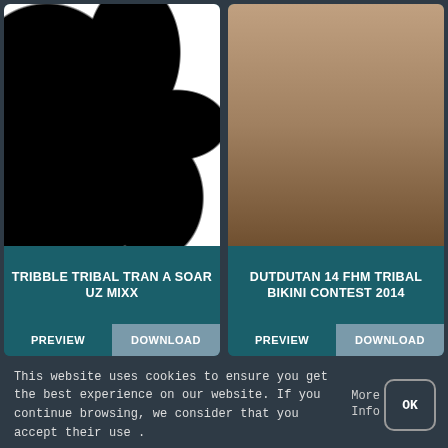[Figure (screenshot): Card with black and white tribal pattern image, title TRIBBLE TRIBAL TRAN A SOAR UZ MIXX, with PREVIEW and DOWNLOAD buttons]
[Figure (screenshot): Card with bikini contest image, title DUTDUTAN 14 FHM TRIBAL BIKINI CONTEST 2014, with PREVIEW and DOWNLOAD buttons]
[Figure (screenshot): Gray placeholder card with three dots icon]
[Figure (screenshot): Video thumbnail showing a person lying down with overlay text SUDAN TRIBAL FIGHTING AT LEAST SIX KILLED IN VIOLENCE]
This website uses cookies to ensure you get the best experience on our website. If you continue browsing, we consider that you accept their use .